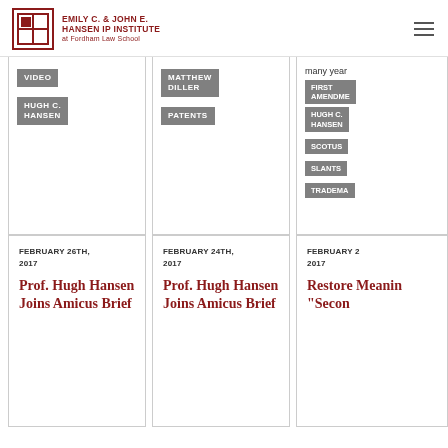EMILY C. & JOHN E. HANSEN IP INSTITUTE at Fordham Law School
VIDEO | HUGH C. HANSEN
MATTHEW DILLER | PATENTS
many years... | FIRST AMENDMENT | HUGH C. HANSEN | SCOTUS | SLANTS | TRADEMARK
FEBRUARY 26TH, 2017
Prof. Hugh Hansen Joins Amicus Brief
FEBRUARY 24TH, 2017
Prof. Hugh Hansen Joins Amicus Brief
FEBRUARY 2... 2017
Restore Meaning "Secon...